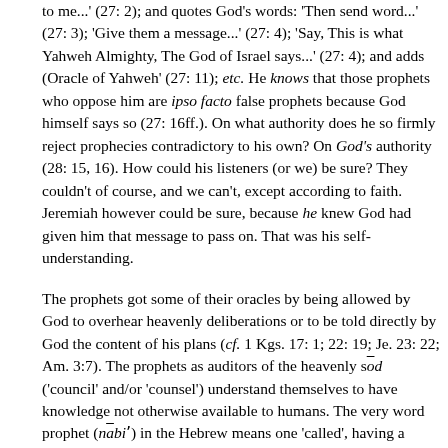to me...' (27: 2); and quotes God's words: 'Then send word...' (27: 3); 'Give them a message...' (27: 4); 'Say, This is what Yahweh Almighty, The God of Israel says...' (27: 4); and adds (Oracle of Yahweh' (27: 11); etc. He knows that those prophets who oppose him are ipso facto false prophets because God himself says so (27: 16ff.). On what authority does he so firmly reject prophecies contradictory to his own? On God's authority (28: 15, 16). How could his listeners (or we) be sure? They couldn't of course, and we can't, except according to faith. Jeremiah however could be sure, because he knew God had given him that message to pass on. That was his self-understanding.
The prophets got some of their oracles by being allowed by God to overhear heavenly deliberations or to be told directly by God the content of his plans (cf. 1 Kgs. 17: 1; 22: 19; Je. 23: 22; Am. 3:7). The prophets as auditors of the heavenly sōd ('council' and/or 'counsel') understand themselves to have knowledge not otherwise available to humans. The very word prophet (nābî') in the Hebrew means one 'called', having a